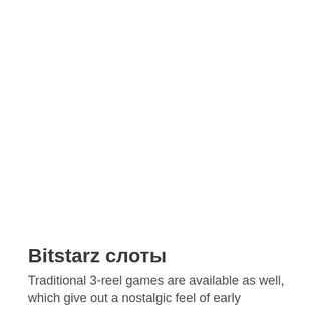Bitstarz слоты
Traditional 3-reel games are available as well, which give out a nostalgic feel of early